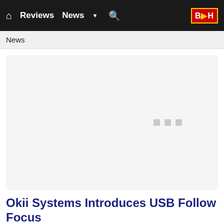Reviews  News  B&H
News
[Figure (other): Large loading/placeholder image area with three small grey loading dots centered-right]
Okii Systems Introduces USB Follow Focu